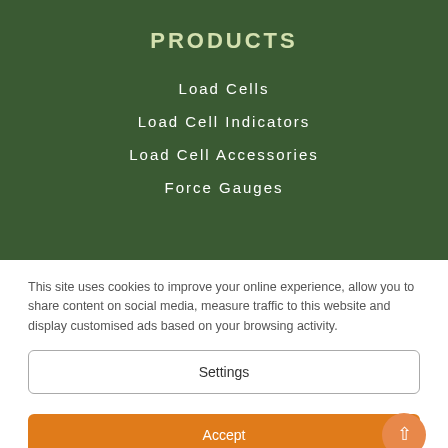PRODUCTS
Load Cells
Load Cell Indicators
Load Cell Accessories
Force Gauges
This site uses cookies to improve your online experience, allow you to share content on social media, measure traffic to this website and display customised ads based on your browsing activity.
Settings
Accept